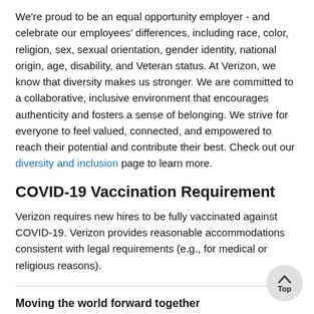We're proud to be an equal opportunity employer - and celebrate our employees' differences, including race, color, religion, sex, sexual orientation, gender identity, national origin, age, disability, and Veteran status. At Verizon, we know that diversity makes us stronger. We are committed to a collaborative, inclusive environment that encourages authenticity and fosters a sense of belonging. We strive for everyone to feel valued, connected, and empowered to reach their potential and contribute their best. Check out our diversity and inclusion page to learn more.
COVID-19 Vaccination Requirement
Verizon requires new hires to be fully vaccinated against COVID-19. Verizon provides reasonable accommodations consistent with legal requirements (e.g., for medical or religious reasons).
Moving the world forward together
Our credo is at the core of the V team culture